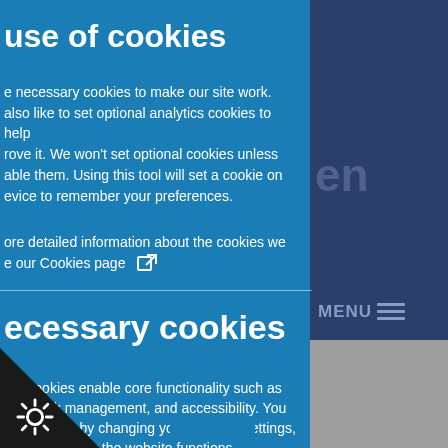use of cookies
e necessary cookies to make our site work. Also like to set optional analytics cookies to help rove it. We won't set optional cookies unless able them. Using this tool will set a cookie on evice to remember your preferences.
ore detailed information about the cookies we e our Cookies page [external link icon]
ecessary cookies
ary cookies enable core functionality such as , network management, and accessibility. You sable these by changing your browser settings, may affect how the website functions.